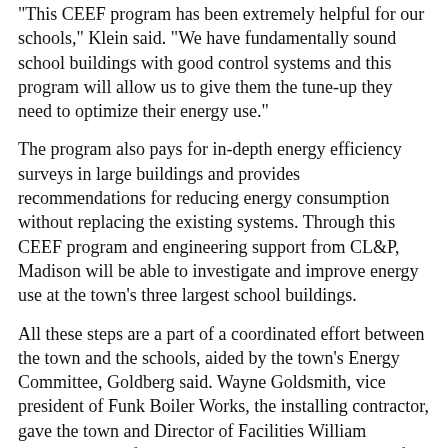"This CEEF program has been extremely helpful for our schools," Klein said. "We have fundamentally sound school buildings with good control systems and this program will allow us to give them the tune-up they need to optimize their energy use."
The program also pays for in-depth energy efficiency surveys in large buildings and provides recommendations for reducing energy consumption without replacing the existing systems. Through this CEEF program and engineering support from CL&P, Madison will be able to investigate and improve energy use at the town's three largest school buildings.
All these steps are a part of a coordinated effort between the town and the schools, aided by the town's Energy Committee, Goldberg said. Wayne Goldsmith, vice president of Funk Boiler Works, the installing contractor, gave the town and Director of Facilities William McMinn credit for understanding the long-term benefits of a properly designed and installed boiler.
(Photo)
Town officials met with representatives from Southern Connecticut Gas Company last week to accept a $22,000 "check" from the company. The reimbursement is the result of a decision to install a new, high efficiency boiler at Island Avenue School. Pictured here at the brief ceremony are, from left, front row: